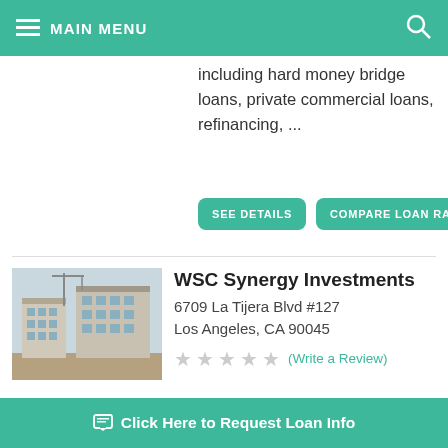MAIN MENU
including hard money bridge loans, private commercial loans, refinancing, ...
SEE DETAILS | COMPARE LOAN RATES
WSC Synergy Investments
6709 La Tijera Blvd #127
Los Angeles, CA 90045
(Write a Review)
WSC Synergy Investments is a Los Angeles, CA based private lender. They offer loans in 20 states including hard money bridge loans.
Click Here to Request Loan Info